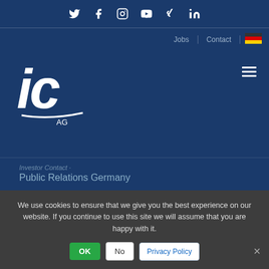Social media icons: Twitter, Facebook, Instagram, YouTube, Xing, LinkedIn
Jobs | Contact | [German flag]
[Figure (logo): IC AG company logo — stylized italic 'ic' letters in white with 'AG' below, on dark blue background]
Investor Contact · Public Relations Germany
Bahrenfelder Marktplatz 7
DE-22761 Hamburg
Germany
We use cookies to ensure that we give you the best experience on our website. If you continue to use this site we will assume that you are happy with it.